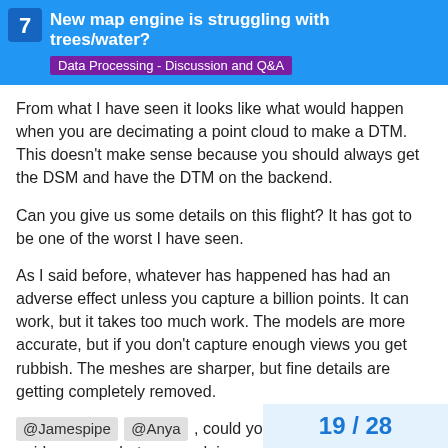New map engine is struggling with trees/water?
Data Processing - Discussion and Q&A
From what I have seen it looks like what would happen when you are decimating a point cloud to make a DTM. This doesn't make sense because you should always get the DSM and have the DTM on the backend.
Can you give us some details on this flight? It has got to be one of the worst I have seen.
As I said before, whatever has happened has had an adverse effect unless you capture a billion points. It can work, but it takes too much work. The models are more accurate, but if you don't capture enough views you get rubbish. The meshes are sharper, but fine details are getting completely removed.
@Jamespipe @Anya , could you give us some guidance on what we are doing wrong? From what I see I know that not enough of the right images are not being captured, but it didn't use to be and shouldn't be this hard.
19 / 28